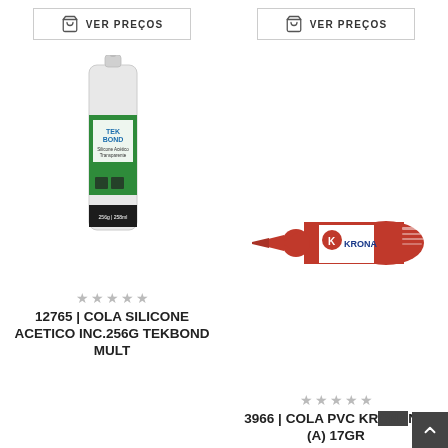[Figure (other): VER PREÇOS button with shopping bag icon, left column]
[Figure (other): VER PREÇOS button with shopping bag icon, right column]
[Figure (photo): Product photo: TekBond silicone acético transparente tube/cartridge, white and green packaging]
[Figure (photo): Product photo: Krona red and white PVC adhesive tube (17gr)]
★★★★★
★★★★★
12765 | COLA SILICONE ACETICO INC.256G TEKBOND MULT
3966 | COLA PVC KRONA (A) 17GR